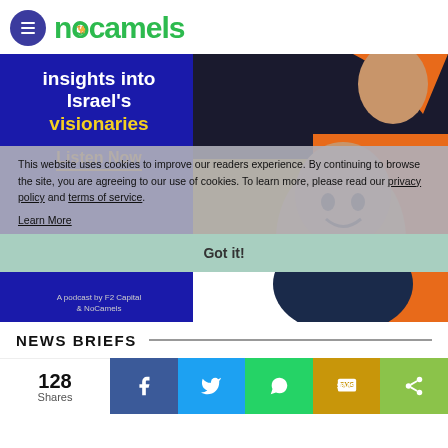NoCamels
[Figure (illustration): NoCamels podcast banner: blue box with text 'insights into Israel's visionaries' and 'Listen Now', plus illustrated portrait of person on colorful geometric background]
This website uses cookies to improve our readers experience. By continuing to browse the site, you are agreeing to our use of cookies. To learn more, please read our privacy policy and terms of service.
Learn More
Got it!
NEWS BRIEFS
128 Shares